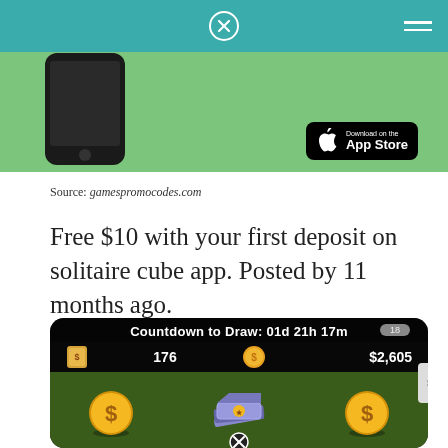[Figure (screenshot): App Store promotional image showing a phone and Download on the App Store button on a green background]
Source: gamespromocodes.com
Free $10 with your first deposit on solitaire cube app. Posted by 11 months ago.
[Figure (screenshot): Game screenshot showing Countdown to Draw: 01d 21h 17m, ticket count 176, $2,605, dollar coin icons and card book on dark green game board background]